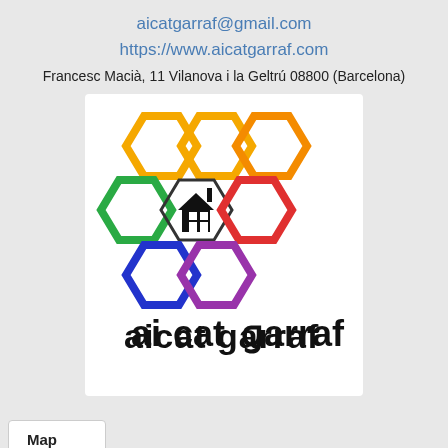aicatgarraf@gmail.com
https://www.aicatgarraf.com
Francesc Macià, 11 Vilanova i la Geltrú 08800 (Barcelona)
[Figure (logo): aicat garraf logo with colorful hexagons and a house icon]
Map
We use our own and third-party cookies to facilitate your navigation on the website, learn how you interact with us and collect statistical data. Please read our Cookies Policy to learn more about the cookies we use, their purpose and how to configure or reject them, if you consider it so.
QUESTION?
Accept all
Manage Cookies
Reject